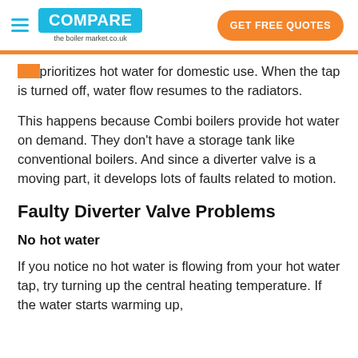COMPARE the boiler market.co.uk | GET FREE QUOTES
prioritizes hot water for domestic use. When the tap is turned off, water flow resumes to the radiators.
This happens because Combi boilers provide hot water on demand. They don't have a storage tank like conventional boilers. And since a diverter valve is a moving part, it develops lots of faults related to motion.
Faulty Diverter Valve Problems
No hot water
If you notice no hot water is flowing from your hot water tap, try turning up the central heating temperature. If the water starts warming up,